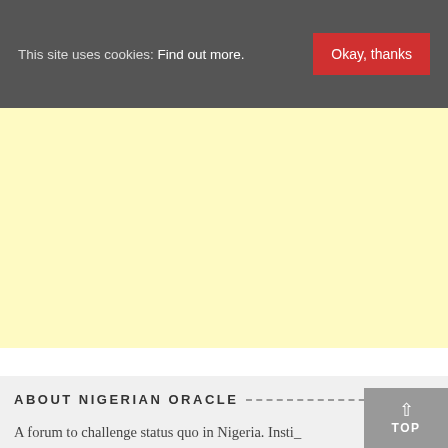This site uses cookies: Find out more.  Okay, thanks
[Figure (other): Yellow/cream colored advertisement block placeholder]
ABOUT NIGERIAN ORACLE
A forum to challenge status quo in Nigeria. Insti...